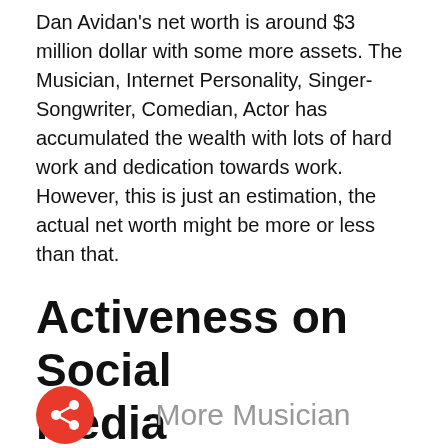Dan Avidan's net worth is around $3 million dollar with some more assets. The Musician, Internet Personality, Singer-Songwriter, Comedian, Actor has accumulated the wealth with lots of hard work and dedication towards work. However, this is just an estimation, the actual net worth might be more or less than that.
Activeness on Social Media
Dan is active on the following social media whose links are active as instagram, twitter, imdb, wikipedia, tiktok, and on other platforms.
More Musician